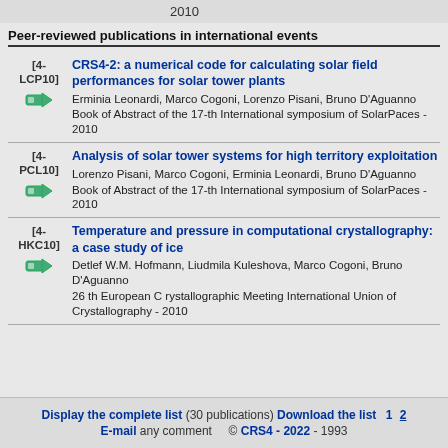2010
Peer-reviewed publications in international events
[4-LCP10] CRS4-2: a numerical code for calculating solar field performances for solar tower plants
Erminia Leonardi, Marco Cogoni, Lorenzo Pisani, Bruno D'Aguanno
Book of Abstract of the 17-th International symposium of SolarPaces - 2010
[4-PCL10] Analysis of solar tower systems for high territory exploitation
Lorenzo Pisani, Marco Cogoni, Erminia Leonardi, Bruno D'Aguanno
Book of Abstract of the 17-th International symposium of SolarPaces - 2010
[4-HKC10] Temperature and pressure in computational crystallography: a case study of ice
Detlef W.M. Hofmann, Liudmila Kuleshova, Marco Cogoni, Bruno D'Aguanno
26 th European C rystallographic Meeting International Union of Crystallography - 2010
Display the complete list (30 publications) Download the list 1 2
E-mail any comment © CRS4 - 2022 - 1993